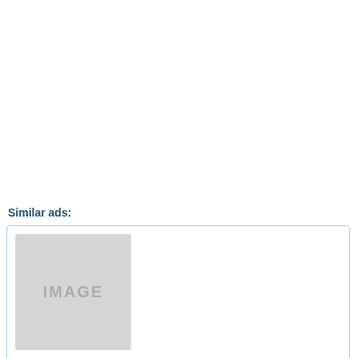Similar ads:
[Figure (photo): Placeholder image thumbnail for product listing]
iPhone 4 16GB Verizon - 140.00 US$
Selling my iPhone 4 16gb with Verizon for $120. I upgraded recently to an iPhone 6. It is used, but in good condition. Comes with case, charger and factory ...